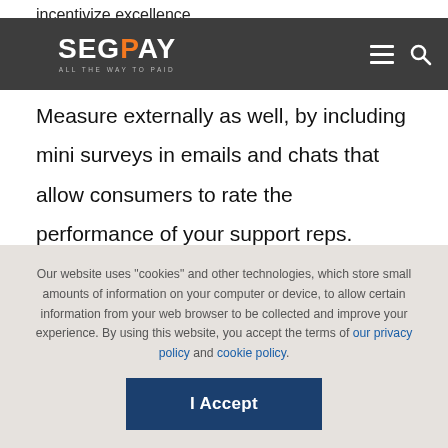SEGPAY — ALL THE WAY TO PAID (navigation bar with logo, menu, and search icons)
incentivize excellence
Measure externally as well, by including mini surveys in emails and chats that allow consumers to rate the performance of your support reps. Conduct larger surveys of your customers periodically to ask them how you're doing overall. Surveys convey that it's important to you that you're meeting customers' expectations, and that their participation will help
Our website uses "cookies" and other technologies, which store small amounts of information on your computer or device, to allow certain information from your web browser to be collected and improve your experience. By using this website, you accept the terms of our privacy policy and cookie policy.
I Accept